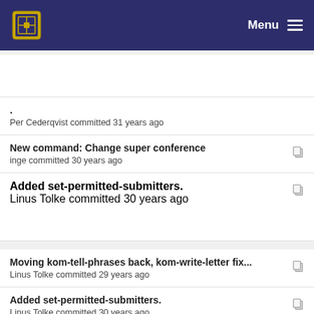Menu
.
Per Cederqvist committed 31 years ago
New command: Change super conference
inge committed 30 years ago
Added set-permitted-submitters.
Linus Tolke committed 30 years ago
Moving kom-tell-phrases back, kom-write-letter fix...
Linus Tolke committed 29 years ago
Added set-permitted-submitters.
Linus Tolke committed 30 years ago